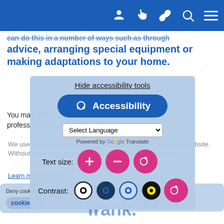[Figure (screenshot): Navigation bar with blue background and white icons: person, hand/pointer, chain link, magnifying glass, hamburger menu]
can do this in a number of ways such as through advice, arranging special equipment or making adaptations to your home.
You may see a number of different health and social care professionals involved in your care. This
[Figure (screenshot): Accessibility tools overlay panel showing: Hide accessibility tools link, Accessibility button, Select Language dropdown powered by Google Translate, Text size controls (plus, minus, reset), Contrast options (4 circle icons + reset), frank. logo watermark, and cookie consent banners behind]